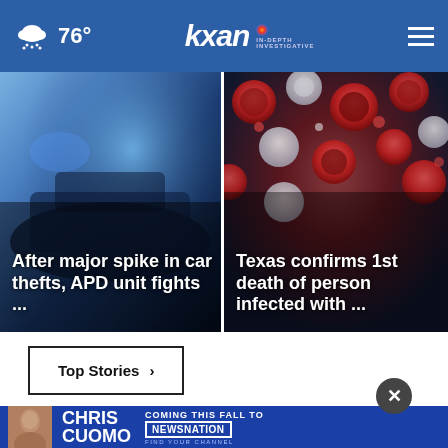76° | KXAN IN-DEPTH INVESTIGATIVE
[Figure (photo): Blue-tinted photo of police lights and car, with headline overlay: After major spike in car thefts, APD unit fights ...]
[Figure (photo): Microscope image of red and white circular virus/bacteria particles on blue-green background, with headline overlay: Texas confirms 1st death of person infected with ...]
Top Stories ›
[Figure (photo): Partial photo of a person (Chris Cuomo) at bottom of page]
[Figure (photo): Advertisement banner: CHRIS CUOMO — COMING THIS FALL TO [NEWSNATION] FIND YOUR CHANNEL]